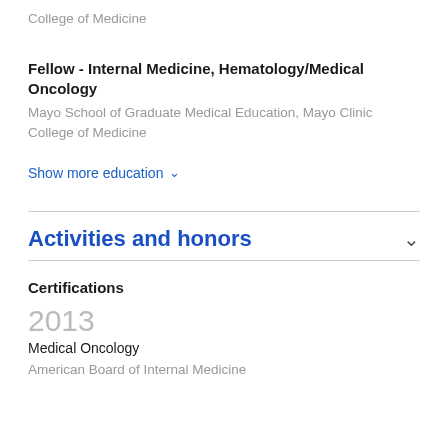College of Medicine
Fellow - Internal Medicine, Hematology/Medical Oncology
Mayo School of Graduate Medical Education, Mayo Clinic College of Medicine
Show more education
Activities and honors
Certifications
2013
Medical Oncology
American Board of Internal Medicine